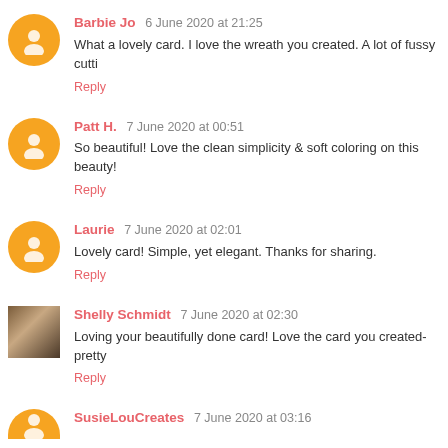Barbie Jo 6 June 2020 at 21:25
What a lovely card. I love the wreath you created. A lot of fussy cutti
Reply
Patt H. 7 June 2020 at 00:51
So beautiful! Love the clean simplicity & soft coloring on this beauty!
Reply
Laurie 7 June 2020 at 02:01
Lovely card! Simple, yet elegant. Thanks for sharing.
Reply
Shelly Schmidt 7 June 2020 at 02:30
Loving your beautifully done card! Love the card you created- pretty
Reply
SusieLouCreates 7 June 2020 at 03:16